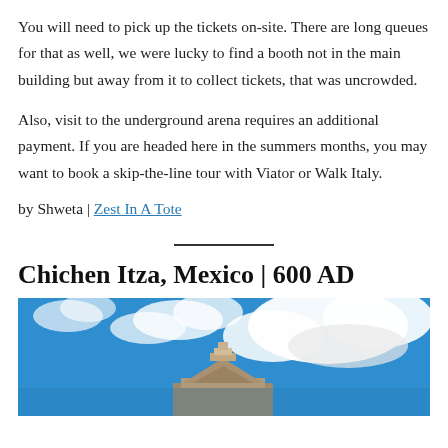You will need to pick up the tickets on-site. There are long queues for that as well, we were lucky to find a booth not in the main building but away from it to collect tickets, that was uncrowded.
Also, visit to the underground arena requires an additional payment. If you are headed here in the summers months, you may want to book a skip-the-line tour with Viator or Walk Italy.
by Shweta | Zest In A Tote
Chichen Itza, Mexico | 600 AD
[Figure (photo): Photo of Chichen Itza pyramid against a blue sky with white clouds]